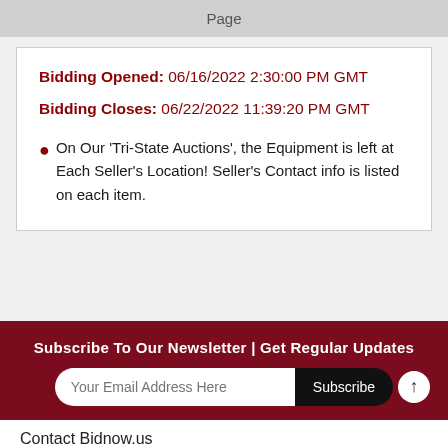Page
Bidding Opened: 06/16/2022 2:30:00 PM GMT
Bidding Closes: 06/22/2022 11:39:20 PM GMT
On Our 'Tri-State Auctions', the Equipment is left at Each Seller's Location! Seller's Contact info is listed on each item.
Subscribe To Our Newsletter | Get Regular Updates
Your Email Address Here
Subscribe
Contact Bidnow.us